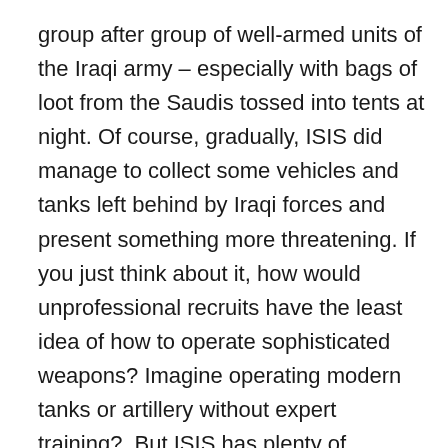group after group of well-armed units of the Iraqi army – especially with bags of loot from the Saudis tossed into tents at night. Of course, gradually, ISIS did manage to collect some vehicles and tanks left behind by Iraqi forces and present something more threatening. If you just think about it, how would unprofessional recruits have the least idea of how to operate sophisticated weapons? Imagine operating modern tanks or artillery without expert training?  But ISIS has plenty of undercover experts to train them and make them seem more formidable. The head of ISIS is a man, Abu Bakr al-Baghdadi, who was an American prisoner for a time. He seems to know America's greatest plug-ugly senator and roaming unofficial ambassador for killing, John McCain (judging from a number of photos on the Internet showing them together), and he is, according to a number of sources, actually a